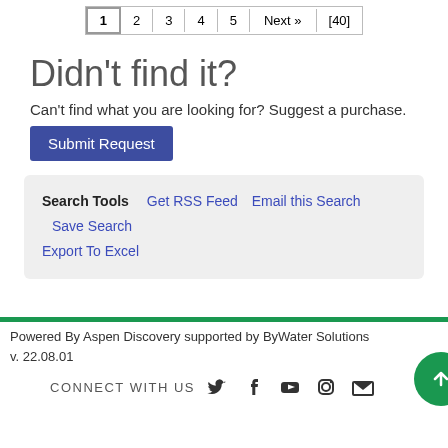1 2 3 4 5 Next » [40]
Didn't find it?
Can't find what you are looking for? Suggest a purchase. Submit Request
Search Tools  Get RSS Feed  Email this Search  Save Search  Export To Excel
Powered By Aspen Discovery supported by ByWater Solutions v. 22.08.01
CONNECT WITH US